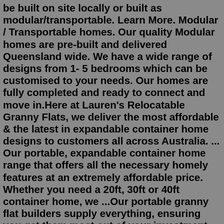be built on site locally or built as modular/transportable. Learn More. Modular / Transportable homes. Our quality Modular homes are pre-built and delivered Queensland wide. We have a wide range of designs from 1- 5 bedrooms which can be customised to your needs. Our homes are fully completed and ready to connect and move in.Here at Lauren's Relocatable Granny Flats, we deliver the most affordable & the latest in expandable container home designs to customers all across Australia. ... Our portable, expandable container home range that offers all the necessary homely features at an extremely affordable price. Whether you need a 20ft, 30ft or 40ft container home, we ...Our portable granny flat builders supply everything, ensuring you get them most out of your investment. Our granny flat designs come with: A modern kitchen, bathroom and laundry. Custom designed interiors. Elegant exterior features. A full paint job. Complete electrical work and light fittings. We understand that everyone is unique in their own ... If you're moving house &